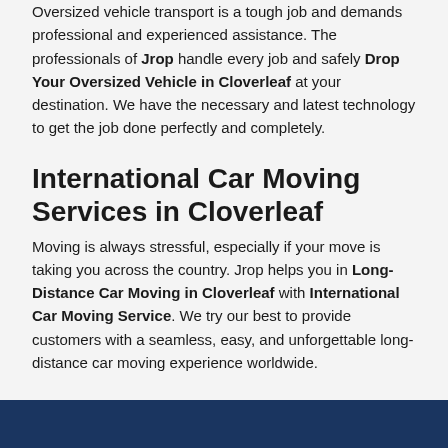Oversized vehicle transport is a tough job and demands professional and experienced assistance. The professionals of Jrop handle every job and safely Drop Your Oversized Vehicle in Cloverleaf at your destination. We have the necessary and latest technology to get the job done perfectly and completely.
International Car Moving Services in Cloverleaf
Moving is always stressful, especially if your move is taking you across the country. Jrop helps you in Long-Distance Car Moving in Cloverleaf with International Car Moving Service. We try our best to provide customers with a seamless, easy, and unforgettable long-distance car moving experience worldwide.